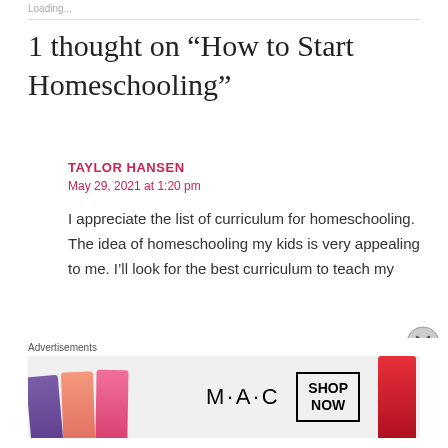Loading...
1 thought on “How to Start Homeschooling”
TAYLOR HANSEN
May 29, 2021 at 1:20 pm
I appreciate the list of curriculum for homeschooling. The idea of homeschooling my kids is very appealing to me. I’ll look for the best curriculum to teach my
Advertisements
[Figure (photo): MAC cosmetics advertisement banner showing lipsticks in purple, salmon, pink and red colors with MAC logo and SHOP NOW button]